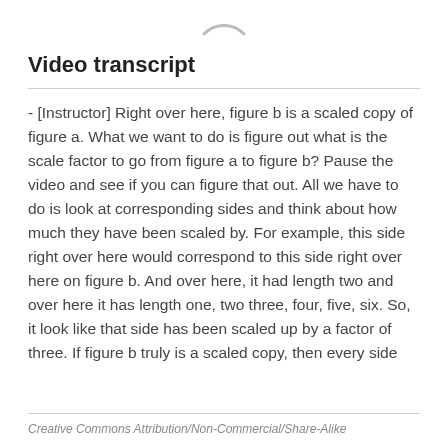[Figure (other): Partial circular loading or logo icon visible at top center of page]
Video transcript
- [Instructor] Right over here, figure b is a scaled copy of figure a. What we want to do is figure out what is the scale factor to go from figure a to figure b? Pause the video and see if you can figure that out. All we have to do is look at corresponding sides and think about how much they have been scaled by. For example, this side right over here would correspond to this side right over here on figure b. And over here, it had length two and over here it has length one, two three, four, five, six. So, it look like that side has been scaled up by a factor of three. If figure b truly is a scaled copy, then every side
Creative Commons Attribution/Non-Commercial/Share-Alike